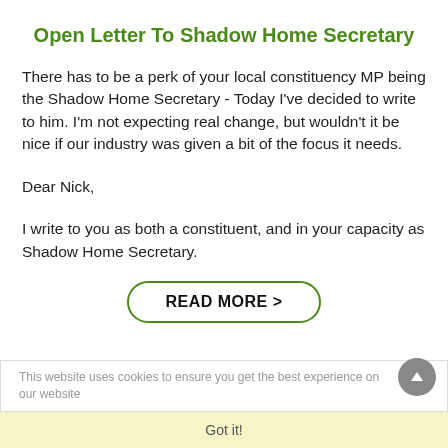Open Letter To Shadow Home Secretary
There has to be a perk of your local constituency MP being the Shadow Home Secretary - Today I've decided to write to him. I'm not expecting real change, but wouldn't it be nice if our industry was given a bit of the focus it needs.
Dear Nick,
I write to you as both a constituent, and in your capacity as Shadow Home Secretary.
READ MORE >
This website uses cookies to ensure you get the best experience on our website
Got it!